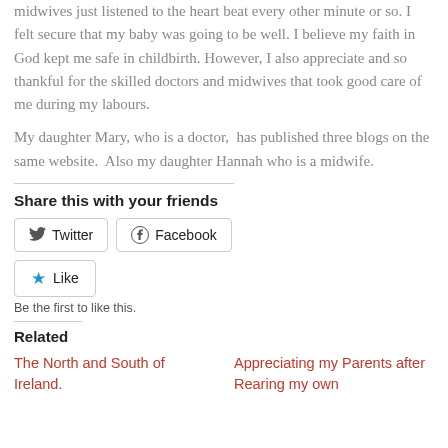midwives just listened to the heart beat every other minute or so. I felt secure that my baby was going to be well. I believe my faith in God kept me safe in childbirth. However, I also appreciate and so thankful for the skilled doctors and midwives that took good care of me during my labours.
My daughter Mary, who is a doctor,  has published three blogs on the same website.  Also my daughter Hannah who is a midwife.
Share this with your friends
[Figure (infographic): Twitter and Facebook share buttons, and a Like button with a blue star icon]
Be the first to like this.
Related
The North and South of Ireland.
Appreciating my Parents after Rearing my own